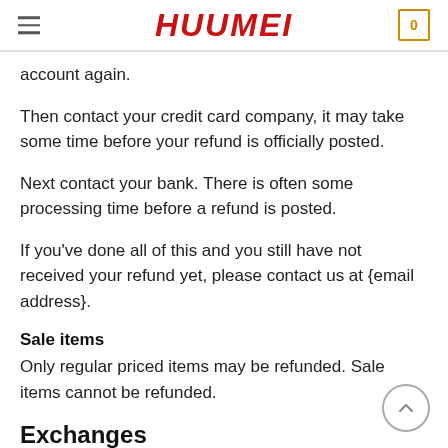HUUMEI [hamburger menu] [cart: 0]
account again.
Then contact your credit card company, it may take some time before your refund is officially posted.
Next contact your bank. There is often some processing time before a refund is posted.
If you've done all of this and you still have not received your refund yet, please contact us at {email address}.
Sale items
Only regular priced items may be refunded. Sale items cannot be refunded.
Exchanges
We only replace items if they are defective or damaged. If...